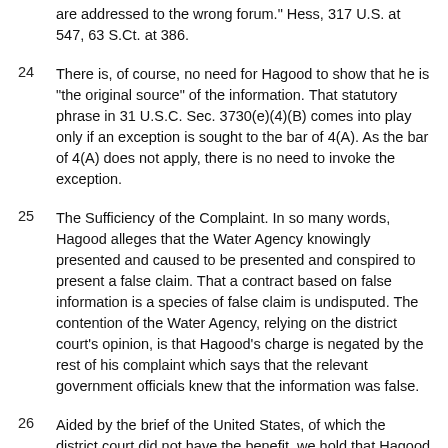are addressed to the wrong forum." Hess, 317 U.S. at 547, 63 S.Ct. at 386.
24  There is, of course, no need for Hagood to show that he is "the original source" of the information. That statutory phrase in 31 U.S.C. Sec. 3730(e)(4)(B) comes into play only if an exception is sought to the bar of 4(A). As the bar of 4(A) does not apply, there is no need to invoke the exception.
25  The Sufficiency of the Complaint. In so many words, Hagood alleges that the Water Agency knowingly presented and caused to be presented and conspired to present a false claim. That a contract based on false information is a species of false claim is undisputed. The contention of the Water Agency, relying on the district court's opinion, is that Hagood's charge is negated by the rest of his complaint which says that the relevant government officials knew that the information was false.
26  Aided by the brief of the United States, of which the district court did not have the benefit, we hold that Hagood has not engaged in an exercise of self-contradiction. To be sure, he comes very close to it, especially when the documents annexed to his complaint are considered, for in them it appears that the contract was prepared not